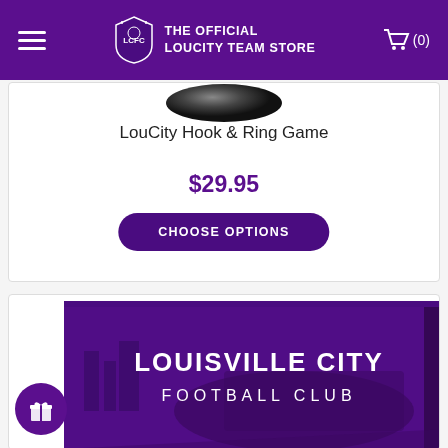THE OFFICIAL LOUCITY TEAM STORE
[Figure (screenshot): Partial product image - LouCity Hook & Ring Game board (circular, dark)]
LouCity Hook & Ring Game
$29.95
CHOOSE OPTIONS
[Figure (photo): Louisville City Football Club canvas print product image with purple stadium aerial view background]